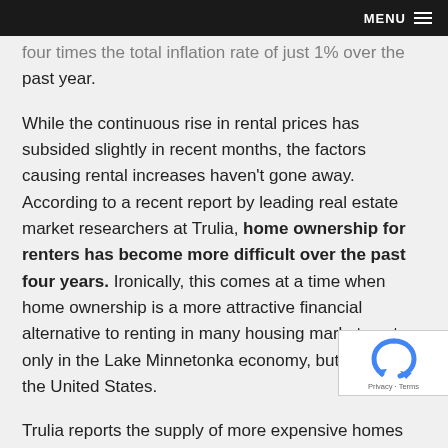MENU
four times the total inflation rate of just 1% over the past year.
While the continuous rise in rental prices has subsided slightly in recent months, the factors causing rental increases haven't gone away. According to a recent report by leading real estate market researchers at Trulia, home ownership for renters has become more difficult over the past four years. Ironically, this comes at a time when home ownership is a more attractive financial alternative to renting in many housing markets not only in the Lake Minnetonka economy, but throughout the United States.
Trulia reports the supply of more expensive homes